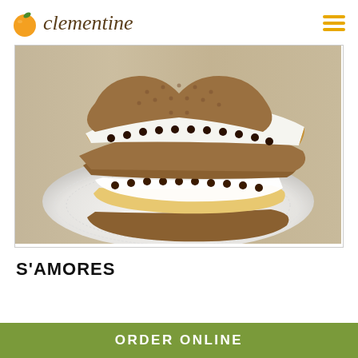[Figure (logo): Clementine restaurant logo with orange fruit icon and cursive text]
[Figure (photo): Two heart-shaped s'mores sandwiches stacked on a white plate with a lace doily — graham cracker cookies with chocolate chips and toasted marshmallow filling]
S'AMORES
ORDER ONLINE